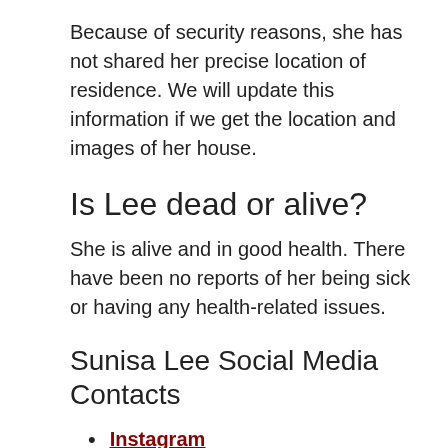Because of security reasons, she has not shared her precise location of residence. We will update this information if we get the location and images of her house.
Is Lee dead or alive?
She is alive and in good health. There have been no reports of her being sick or having any health-related issues.
Sunisa Lee Social Media Contacts
Instagram
Twitter
Facebook